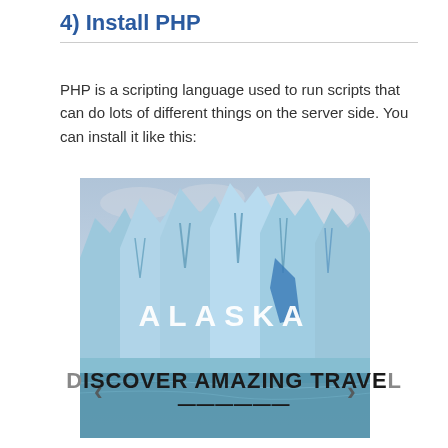4) Install PHP
PHP is a scripting language used to run scripts that can do lots of different things on the server side. You can install it like this:
[Figure (photo): Photo of blue glacier ice formations with the word ALASKA overlaid in large white letters, navigation arrows on left and right sides below the image]
DISCOVER AMAZING TRAVEL
SIDESTAGE.COM